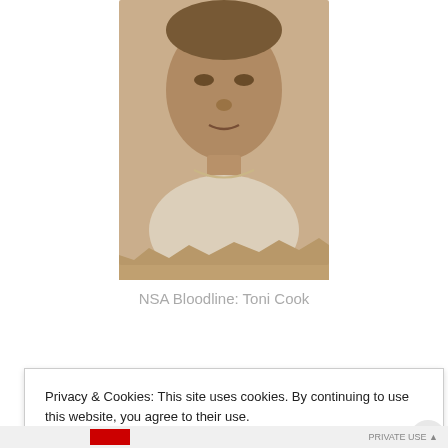[Figure (photo): Sepia-toned vintage photograph of an elderly person, torn at the bottom edge, showing face and upper body with a light colored top.]
NSA Bloodline: Toni Cook
Privacy & Cookies: This site uses cookies. By continuing to use this website, you agree to their use.
To find out more, including how to control cookies, see here: Cookie Policy
Close and accept